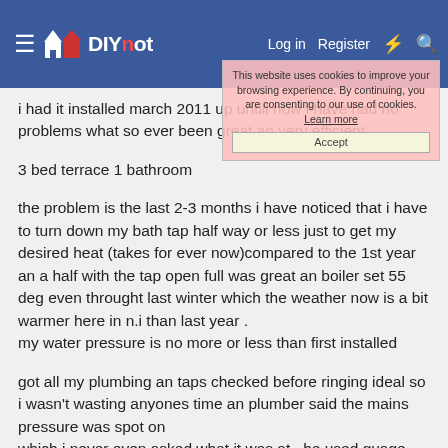DIYnot — Log in | Register
i had it installed march 2011 up untill now i have had no problems what so ever been great an very efficient
3 bed terrace 1 bathroom
the problem is the last 2-3 months i have noticed that i have to turn down my bath tap half way or less just to get my desired heat (takes for ever now)compared to the 1st year an a half with the tap open full was great an boiler set 55 deg even throught last winter which the weather now is a bit warmer here in n.i than last year .
my water pressure is no more or less than first installed
got all my plumbing an taps checked before ringing ideal so i wasn't wasting anyones time an plumber said the mains pressure was spot on
which i never even asked what it was at , he used guage